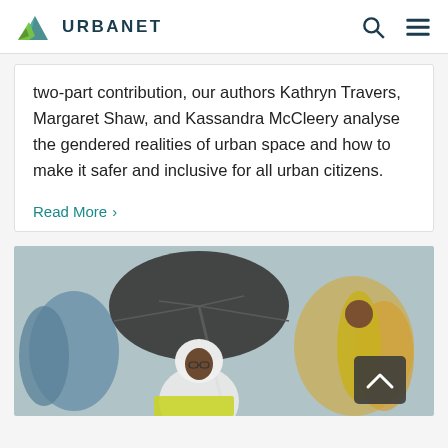URBANET
two-part contribution, our authors Kathryn Travers, Margaret Shaw, and Kassandra McCleery analyse the gendered realities of urban space and how to make it safer and inclusive for all urban citizens.
Read More >
[Figure (photo): A woman wearing a white headscarf and glasses holding a dark umbrella in a crowded outdoor urban scene, with a man in a yellow jacket visible in the background.]